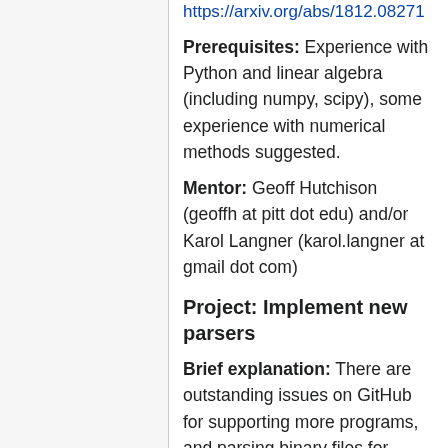https://arxiv.org/abs/1812.08271 (link at top, partially visible)
Prerequisites: Experience with Python and linear algebra (including numpy, scipy), some experience with numerical methods suggested.
Mentor: Geoff Hutchison (geoffh at pitt dot edu) and/or Karol Langner (karol.langner at gmail dot com)
Project: Implement new parsers
Brief explanation: There are outstanding issues on GitHub for supporting more programs, and parsing binary files for various QM programs (e.g. Gaussian, NWChem, and ORCA).
Expected results: Generate test data and unit tests, and implement new parsers.
Prerequisites: Experience with Python,